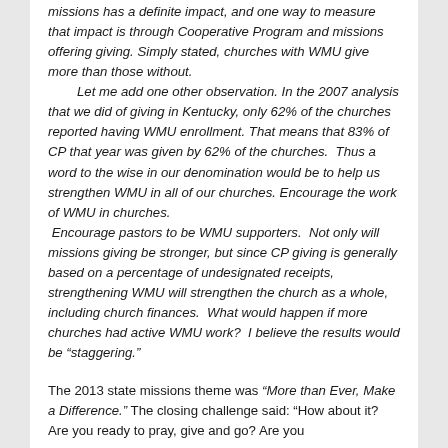missions has a definite impact, and one way to measure that impact is through Cooperative Program and missions offering giving. Simply stated, churches with WMU give more than those without.

Let me add one other observation. In the 2007 analysis that we did of giving in Kentucky, only 62% of the churches reported having WMU enrollment. That means that 83% of CP that year was given by 62% of the churches. Thus a word to the wise in our denomination would be to help us strengthen WMU in all of our churches. Encourage the work of WMU in churches. Encourage pastors to be WMU supporters. Not only will missions giving be stronger, but since CP giving is generally based on a percentage of undesignated receipts, strengthening WMU will strengthen the church as a whole, including church finances. What would happen if more churches had active WMU work? I believe the results would be “staggering.”
The 2013 state missions theme was “More than Ever, Make a Difference.” The closing challenge said: “How about it? Are you ready to pray, give and go? Are you